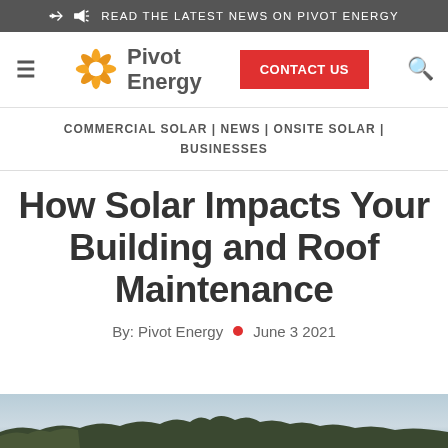READ THE LATEST NEWS ON PIVOT ENERGY
[Figure (logo): Pivot Energy logo with sun/pinwheel icon and text 'Pivot Energy', plus CONTACT US button and search icon]
COMMERCIAL SOLAR | NEWS | ONSITE SOLAR | BUSINESSES
How Solar Impacts Your Building and Roof Maintenance
By: Pivot Energy  •  June 3 2021
[Figure (photo): Landscape photo showing horizon with trees and sky at bottom of page]